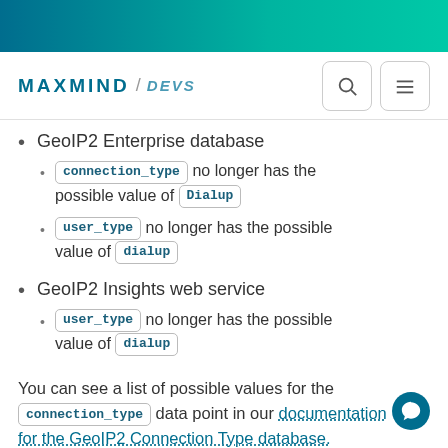MAXMIND / DEVS
GeoIP2 Enterprise database
connection_type no longer has the possible value of Dialup
user_type no longer has the possible value of dialup
GeoIP2 Insights web service
user_type no longer has the possible value of dialup
You can see a list of possible values for the connection_type data point in our documentation for the GeoIP2 Connection Type database.